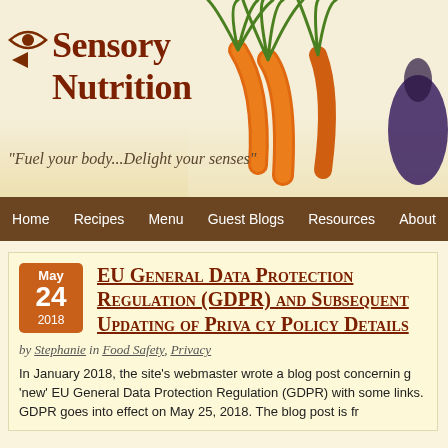[Figure (logo): Sensory Nutrition website logo with eye/arrow icon and carrot/vegetable photo]
"Fuel your body...Delight your senses"
Home  Recipes  Menu  Guest Blogs  Resources  About
EU General Data Protection Regulation (GDPR) and Subsequent Updating of Privacy Policy Details
by Stephanie in Food Safety, Privacy
In January 2018, the site's webmaster wrote a blog post concerning 'new' EU General Data Protection Regulation (GDPR) with some links. GDPR goes into effect on May 25, 2018. The blog post is fr